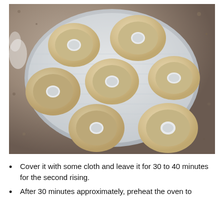[Figure (photo): Seven unbaked donut-shaped dough rings arranged on a white plastic rack or tray covered with parchment paper, resting on a granite countertop. The doughnuts are pale/raw and have a hole in the center.]
Cover it with some cloth and leave it for 30 to 40 minutes for the second rising.
After 30 minutes approximately, preheat the oven to